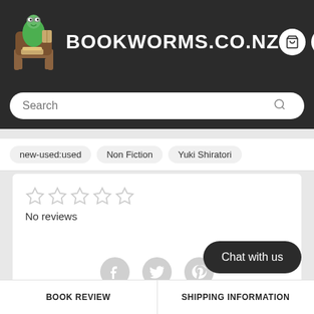BOOKWORMS.CO.NZ
Search
new-used:used
Non Fiction
Yuki Shiratori
No reviews
Chat with us
BOOK REVIEW
SHIPPING INFORMATION